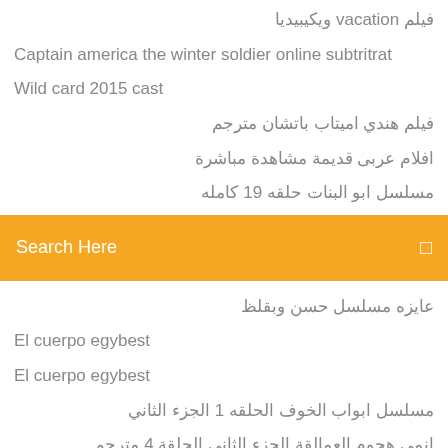فيلم vacation ويكيبيديا
Captain america the winter soldier online subtritrat
Wild card 2015 cast
فيلم هندي اميتاب باتشان مترجم
افلام عربى قديمة مشاهدة مباشرة
مسلسل ابو البنات حلقه 19 كامله
[Figure (infographic): Orange search bar with text 'Search Here' and a small square icon on the right]
عايزه مسلسل حسن وبقلظ
El cuerpo egybest
El cuerpo egybest
مسلسل ابواب الخوف الحلقه 1 الجزء الثاني
انمي هجوم العمالقة الجزء الثاني الحلقة 4 مترجم
14 Jun 2016 Bad Cat 2016 wallpapers.